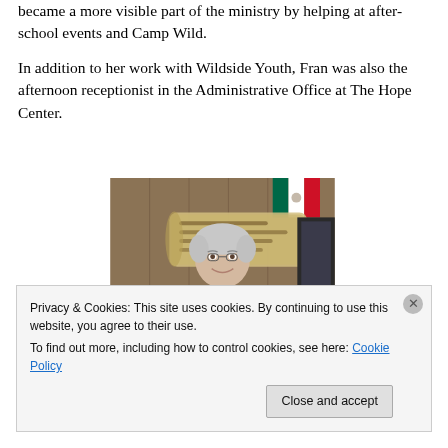became a more visible part of the ministry by helping at after-school events and Camp Wild.
In addition to her work with Wildside Youth, Fran was also the afternoon receptionist in the Administrative Office at The Hope Center.
[Figure (photo): Photo of an older woman with short white/gray hair, smiling, wearing a gray and red argyle vest over a white shirt. She is standing in front of a wood-paneled wall with a decorative scroll banner with text behind her and a Mexican flag visible in the upper right.]
Privacy & Cookies: This site uses cookies. By continuing to use this website, you agree to their use.
To find out more, including how to control cookies, see here: Cookie Policy
Close and accept